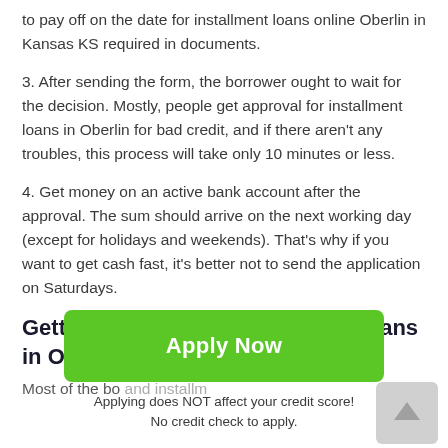to pay off on the date for installment loans online Oberlin in Kansas KS required in documents.
3. After sending the form, the borrower ought to wait for the decision. Mostly, people get approval for installment loans in Oberlin for bad credit, and if there aren't any troubles, this process will take only 10 minutes or less.
4. Get money on an active bank account after the approval. The sum should arrive on the next working day (except for holidays and weekends). That's why if you want to get cash fast, it's better not to send the application on Saturdays.
Getting approval for installment loans in Oberlin for bad credit
Most of the bo... and installment... l...
[Figure (other): Green 'Apply Now' button with text below: 'Applying does NOT affect your credit score! No credit check to apply.']